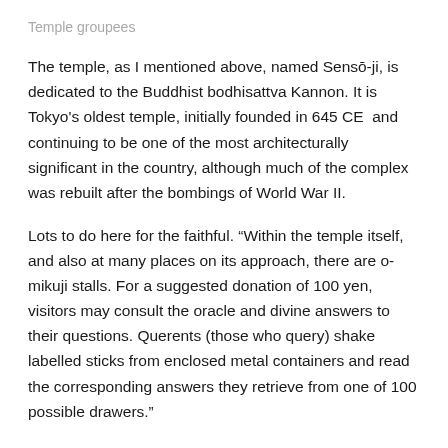Temple groupees
The temple, as I mentioned above, named Sensō-ji, is dedicated to the Buddhist bodhisattva Kannon. It is Tokyo's oldest temple, initially founded in 645 CE  and continuing to be one of the most architecturally significant in the country, although much of the complex was rebuilt after the bombings of World War II.
Lots to do here for the faithful. “Within the temple itself, and also at many places on its approach, there are o-mikuji stalls. For a suggested donation of 100 yen, visitors may consult the oracle and divine answers to their questions. Querents (those who query) shake labelled sticks from enclosed metal containers and read the corresponding answers they retrieve from one of 100 possible drawers.”